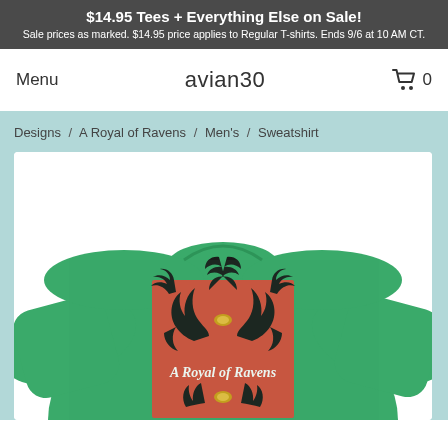$14.95 Tees + Everything Else on Sale! Sale prices as marked. $14.95 price applies to Regular T-shirts. Ends 9/6 at 10 AM CT.
Menu
avian30
0
Designs / A Royal of Ravens / Men's / Sweatshirt
[Figure (photo): Green crewneck sweatshirt featuring a red rectangular graphic with black raven silhouettes in a symmetrical pattern and the text 'A Royal of Ravens' in white script, displayed on a product mock-up against a white background.]